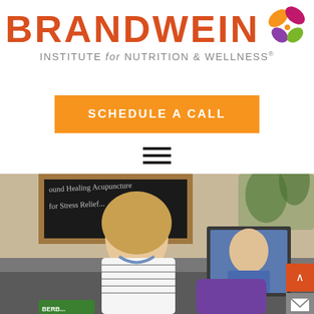[Figure (logo): Brandwein Institute for Nutrition & Wellness logo with butterfly icon and orange/red BRANDWEIN text]
[Figure (other): Orange button with white bold text SCHEDULE A CALL]
[Figure (other): Hamburger menu icon (three horizontal lines)]
[Figure (photo): Photo of a smiling blonde woman sitting on a couch with a chalkboard behind her reading 'Sound Healing Acupuncture for Stress Relief', and a man in a blue shirt visible in a framed photo or video screen. Purple pillow visible. Orange scroll-up and email sidebar tabs on right edge.]